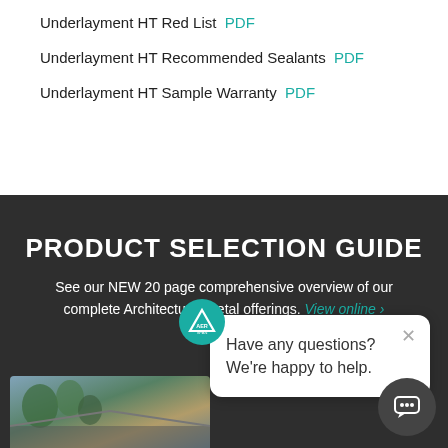Underlayment HT Red List  PDF
Underlayment HT Recommended Sealants  PDF
Underlayment HT Sample Warranty  PDF
PRODUCT SELECTION GUIDE
See our NEW 20 page comprehensive overview of our complete Architectural Metal offerings. View online >
[Figure (screenshot): Chat popup overlay with logo bubble, close button, and message: Have any questions? We're happy to help.]
[Figure (photo): Partial photo of a building with metal roofing and trees in background, shown in bottom-left corner.]